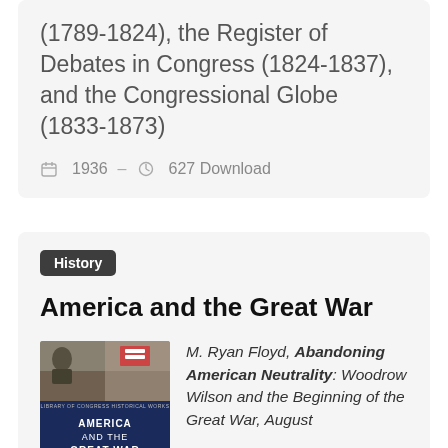(1789-1824), the Register of Debates in Congress (1824-1837), and the Congressional Globe (1833-1873)
1936  –  627 Download
History
America and the Great War
[Figure (photo): Book cover for 'America and the Great War' showing historical photographs and the title text]
M. Ryan Floyd, Abandoning American Neutrality: Woodrow Wilson and the Beginning of the Great War, August